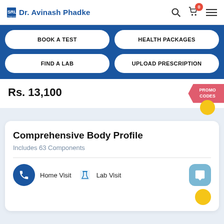SRL Diagnostics Dr. Avinash Phadke
BOOK A TEST
HEALTH PACKAGES
FIND A LAB
UPLOAD PRESCRIPTION
Rs. 13,100
PROMO CODES
Comprehensive Body Profile
Includes 63 Components
Home Visit   Lab Visit